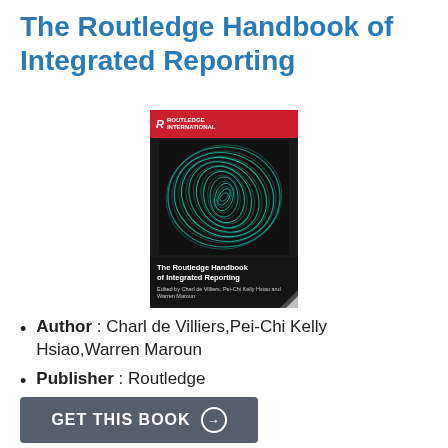The Routledge Handbook of Integrated Reporting
[Figure (photo): Book cover of 'The Routledge Handbook of Integrated Reporting' showing a teal/green spiral pattern on a black background with a red Routledge International banner at the top. Editors listed: Charl de Villiers, Pei-Chi Kelly Hsiao and Warren Maroun.]
Author : Charl de Villiers,Pei-Chi Kelly Hsiao,Warren Maroun
Publisher : Routledge
Release : 11 May 2020
GET THIS BOOK →